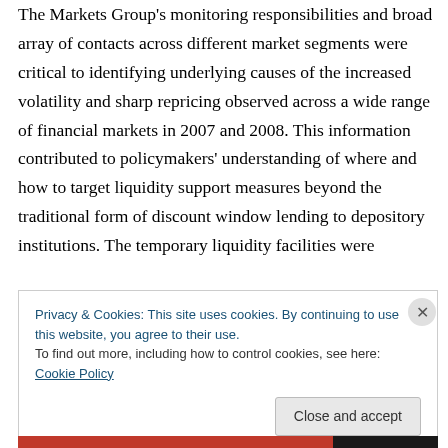The Markets Group's monitoring responsibilities and broad array of contacts across different market segments were critical to identifying underlying causes of the increased volatility and sharp repricing observed across a wide range of financial markets in 2007 and 2008. This information contributed to policymakers' understanding of where and how to target liquidity support measures beyond the traditional form of discount window lending to depository institutions. The temporary liquidity facilities were
Privacy & Cookies: This site uses cookies. By continuing to use this website, you agree to their use.
To find out more, including how to control cookies, see here: Cookie Policy